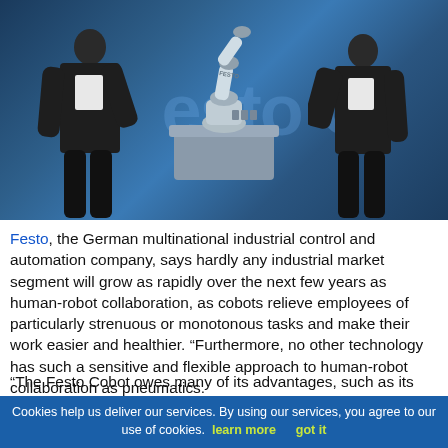[Figure (photo): Two men in dark suits standing on either side of a Festo robotic arm (cobot) mounted on a grey platform/table, with 'Festo C' text visible in the background in a dark blue studio setting.]
Festo, the German multinational industrial control and automation company, says hardly any industrial market segment will grow as rapidly over the next few years as human-robot collaboration, as cobots relieve employees of particularly strenuous or monotonous tasks and make their work easier and healthier. “Furthermore, no other technology has such a sensitive and flexible approach to human-robot collaboration as pneumatics.
“The Festo Cobot owes many of its advantages, such as its sensitivity, weight and value for money to the benefits of pneumatics. The direct drives in the articulated joints are very
Cookies help us deliver our services. By using our services, you agree to our use of cookies.  learn more    got it